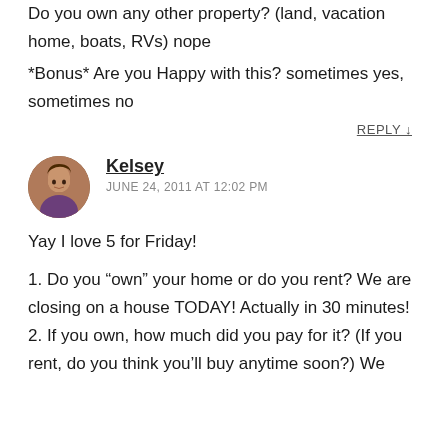Do you own any other property? (land, vacation home, boats, RVs) nope
*Bonus* Are you Happy with this? sometimes yes, sometimes no
REPLY ↓
Kelsey
JUNE 24, 2011 AT 12:02 PM
Yay I love 5 for Friday!
1. Do you "own" your home or do you rent? We are closing on a house TODAY! Actually in 30 minutes! 2. If you own, how much did you pay for it? (If you rent, do you think you'll buy anytime soon?) We